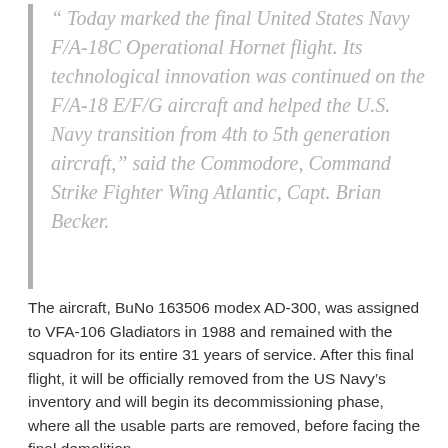“ Today marked the final United States Navy F/A-18C Operational Hornet flight. Its technological innovation was continued on the F/A-18 E/F/G aircraft and helped the U.S. Navy transition from 4th to 5th generation aircraft,” said the Commodore, Command Strike Fighter Wing Atlantic, Capt. Brian Becker.
The aircraft, BuNo 163506 modex AD-300, was assigned to VFA-106 Gladiators in 1988 and remained with the squadron for its entire 31 years of service. After this final flight, it will be officially removed from the US Navy’s inventory and will begin its decommissioning phase, where all the usable parts are removed, before facing the final demolition.